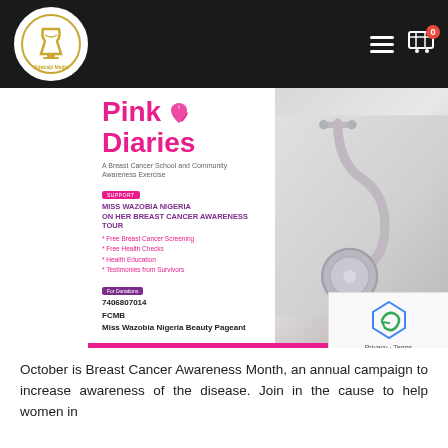Jidekaiji Media
[Figure (infographic): Pink Diaries breast cancer awareness event flyer with pink ribbon, stethoscope background. Features Miss Wazobia Nigeria On Her Breast Cancer Awareness Tour, listing free breast cancer screening, free health checks, health education, testimonies from survivors. Donations: 7406807014 FCMB Miss Wazobia Nigeria Beauty Pageant. Inquiry number 08189231116. Together we can kick out Breast Cancer.]
October is Breast Cancer Awareness Month, an annual campaign to increase awareness of the disease. Join in the cause to help women in